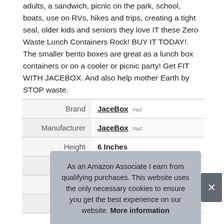adults, a sandwich, picnic on the park, school, boats, use on RVs, hikes and trips, creating a tight seal, older kids and seniors they love IT these Zero Waste Lunch Containers Rock! BUY IT TODAY!. The smaller bento boxes are great as a lunch box containers or on a cooler or picnic party! Get FIT WITH JACEBOX. And also help mother Earth by STOP waste.
|  |  |
| --- | --- |
| Brand | JaceBox #ad |
| Manufacturer | JaceBox #ad |
| Height | 6 Inches |
| Length | 8 Inches |
| P |  |
| Model | OTHER |
As an Amazon Associate I earn from qualifying purchases. This website uses the only necessary cookies to ensure you get the best experience on our website. More information